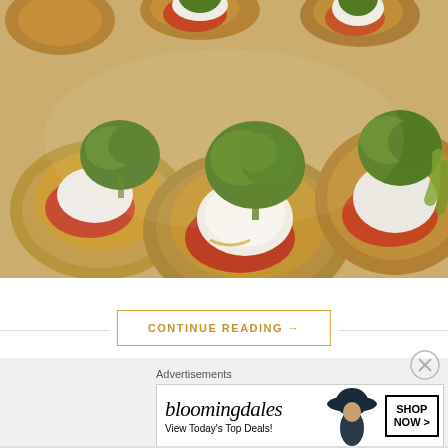[Figure (photo): Close-up photograph of several baked potato skins topped with sour cream, roasted broccoli, and tomato sauce on a wooden board]
CONTINUE READING →
Advertisements
[Figure (other): Bloomingdales advertisement banner showing logo, 'View Today's Top Deals!', woman in hat, and 'SHOP NOW >' button]